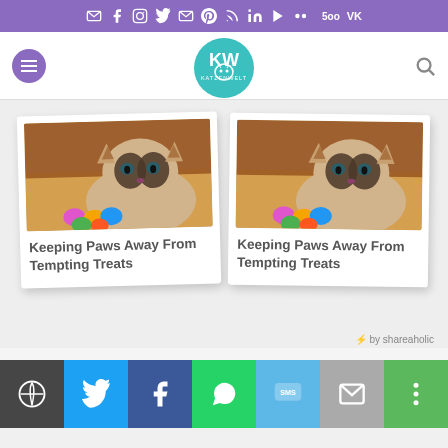Social media icon bar with email, facebook, instagram, twitter, pinterest, rss, linkedin, youtube, and other social icons
[Figure (screenshot): Website navigation bar with hamburger menu button, KatzenWelt cat logo in center, and search icon]
[Figure (screenshot): Two polaroid-style article cards side by side, each showing a Siamese cat with colorful Easter eggs and title 'Keeping Paws Away From Tempting Treats']
by shareaholic
[Figure (screenshot): Social sharing bottom bar with WordPress, Twitter, Facebook, WhatsApp, SMS, Email, and more options buttons]